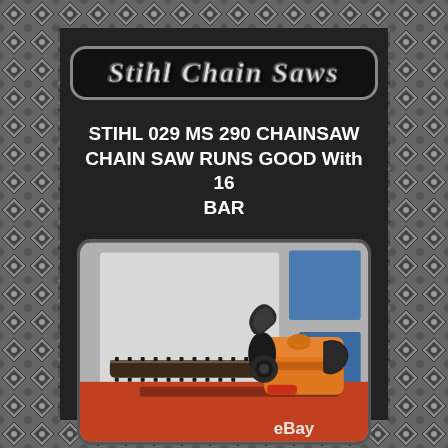Stihl Chain Saws
STIHL 029 MS 290 CHAINSAW CHAIN SAW RUNS GOOD With 16 BAR
[Figure (photo): Photo of a Stihl 029 MS 290 chainsaw with orange body and black bar, lying on a red/orange surface against a grey-white background, with an eBay watermark in the lower right corner.]